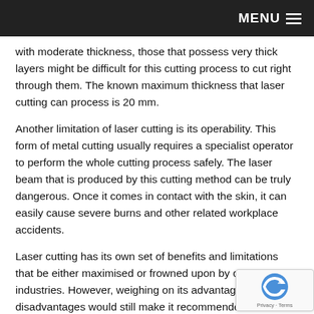MENU
with moderate thickness, those that possess very thick layers might be difficult for this cutting process to cut right through them. The known maximum thickness that laser cutting can process is 20 mm.
Another limitation of laser cutting is its operability. This form of metal cutting usually requires a specialist operator to perform the whole cutting process safely. The laser beam that is produced by this cutting method can be truly dangerous. Once it comes in contact with the skin, it can easily cause severe burns and other related workplace accidents.
Laser cutting has its own set of benefits and limitations that be either maximised or frowned upon by certain industries. However, weighing on its advantages and disadvantages would still make it recommended for a